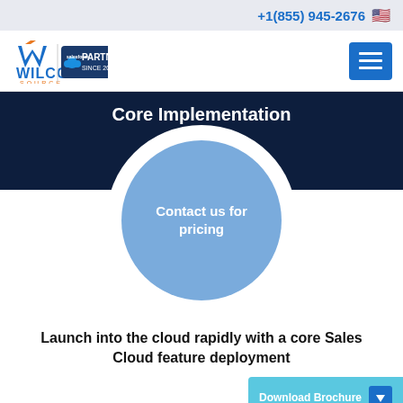+1(855) 945-2676
[Figure (logo): Wilco Source logo with Salesforce Partner since 2014 badge and hamburger menu]
Core Implementation
[Figure (infographic): Large circle with 'Contact us for pricing' text on blue background]
Launch into the cloud rapidly with a core Sales Cloud feature deployment
[Figure (infographic): Download Brochure button with up arrow]
Discovery and Design workshops